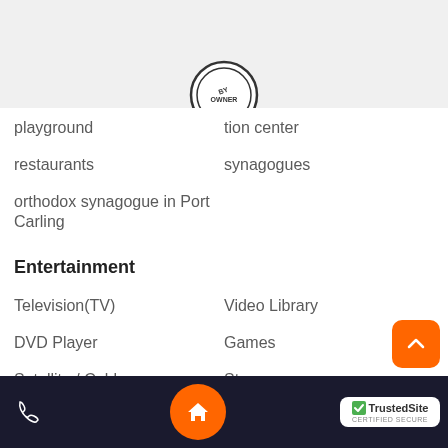[Figure (logo): Circular stamp/seal logo partially visible at top center]
playground
tion center
restaurants
synagogues
orthodox synagogue in Port Carling
Entertainment
Television(TV)
Video Library
DVD Player
Games
Satellite / Cable
Stereo
Toys
Essentials
TrustedSite CERTIFIED SECURE